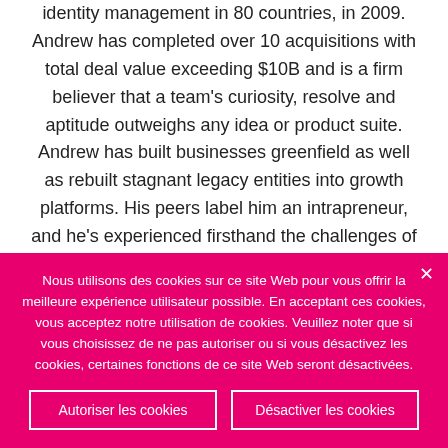identity management in 80 countries, in 2009. Andrew has completed over 10 acquisitions with total deal value exceeding $10B and is a firm believer that a team's curiosity, resolve and aptitude outweighs any idea or product suite. Andrew has built businesses greenfield as well as rebuilt stagnant legacy entities into growth platforms. His peers label him an intrapreneur, and he's experienced firsthand the challenges of igniting disruptive innovation in a large
Nous utilisons des cookies sur ce site Web pour vous offrir la meilleure expérience utilisateur possible. En acceptant ces cookies, vous acceptez notre utilisation de cookies. Veuillez noter que si vous choisissez de ne pas autoriser ou si vous désactivez les cookies, certaines fonctions de ce site Web seront désactivées.
Autoriser les cookies
Désactiver les cookies